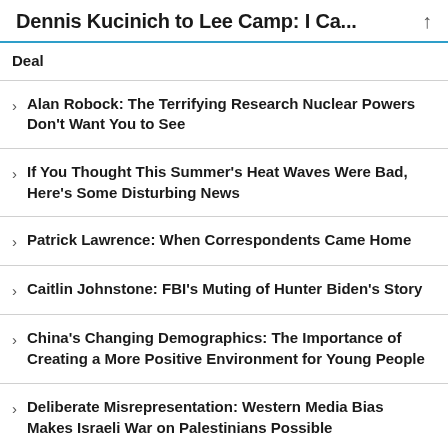Dennis Kucinich to Lee Camp: I Ca...
Deal
Alan Robock: The Terrifying Research Nuclear Powers Don't Want You to See
If You Thought This Summer's Heat Waves Were Bad, Here's Some Disturbing News
Patrick Lawrence: When Correspondents Came Home
Caitlin Johnstone: FBI's Muting of Hunter Biden's Story
China's Changing Demographics: The Importance of Creating a More Positive Environment for Young People
Deliberate Misrepresentation: Western Media Bias Makes Israeli War on Palestinians Possible
Transforming the Real Estate Market: Using the Crisis in the Localized Real Estate Market To Promote Healthy